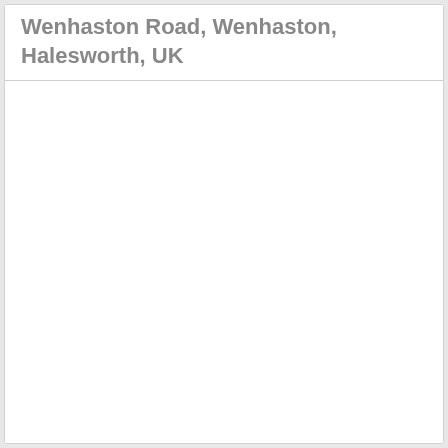Wenhaston Road, Wenhaston, Halesworth, UK
[Figure (other): Empty white content area below the title bar]